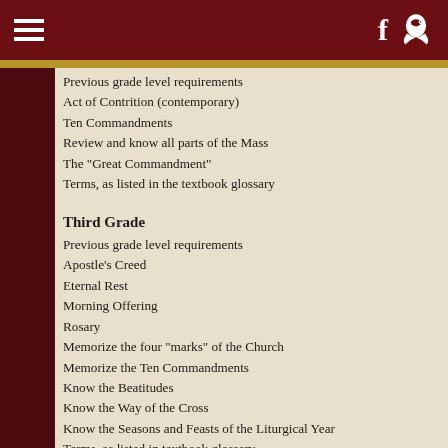[navigation header with hamburger menu, Facebook icon, and bird icon]
Previous grade level requirements
Act of Contrition (contemporary)
Ten Commandments
Review and know all parts of the Mass
The "Great Commandment"
Terms, as listed in the textbook glossary
Third Grade
Previous grade level requirements
Apostle's Creed
Eternal Rest
Morning Offering
Rosary
Memorize the four "marks" of the Church
Memorize the Ten Commandments
Know the Beatitudes
Know the Way of the Cross
Know the Seasons and Feasts of the Liturgical Year
Terms, as listed in textbook glossary
Fourth Grade
Previous grade level requirements
Act of Contrition (traditional)
Confiteor
Divine Praises